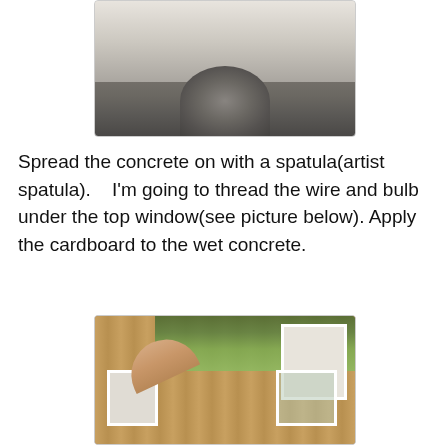[Figure (photo): Top portion of image showing a bowl or container with gray concrete/cement material on a light surface]
Spread the concrete on with a spatula(artist spatula).   I'm going to thread the wire and bulb under the top window(see picture below). Apply the cardboard to the wet concrete.
[Figure (photo): Photo of a cardboard miniature house model showing corrugated cardboard walls with white-framed windows and a wire with bulb being threaded under the top window. A hand/finger is visible threading the red wire.]